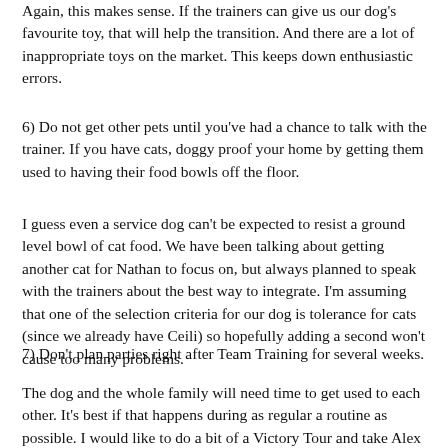Again, this makes sense.  If the trainers can give us our dog's favourite toy, that will help the transition.  And there are a lot of inappropriate toys on the market.  This keeps down enthusiastic errors.
6) Do not get other pets until you've had a chance to talk with the trainer.  If you have cats, doggy proof your home by getting them used to having their food bowls off the floor.
I guess even a service dog can't be expected to resist a ground level bowl of cat food.  We have been talking about getting another cat for Nathan to focus on, but always planned to speak with the trainers about the best way to integrate.  I'm assuming that one of the selection criteria for our dog is tolerance for cats (since we already have Ceili) so hopefully adding a second won't cause too many problems.
7) Don't plan parties right after Team Training for several weeks.
The dog and the whole family will need time to get used to each other.  It's best if that happens during as regular a routine as possible.  I would like to do a bit of a Victory Tour and take Alex and the dog to visit all the places and people he's met, with fundraising...